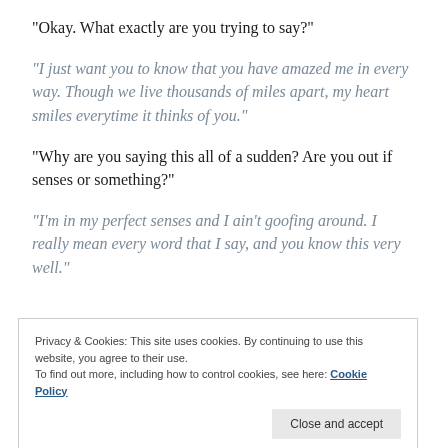“Okay. What exactly are you trying to say?”
“I just want you to know that you have amazed me in every way. Though we live thousands of miles apart, my heart smiles everytime it thinks of you.”
“Why are you saying this all of a sudden? Are you out if senses or something?”
“I’m in my perfect senses and I ain’t goofing around. I really mean every word that I say, and you know this very well.”
Privacy & Cookies: This site uses cookies. By continuing to use this website, you agree to their use. To find out more, including how to control cookies, see here: Cookie Policy
Close and accept
Launch your online